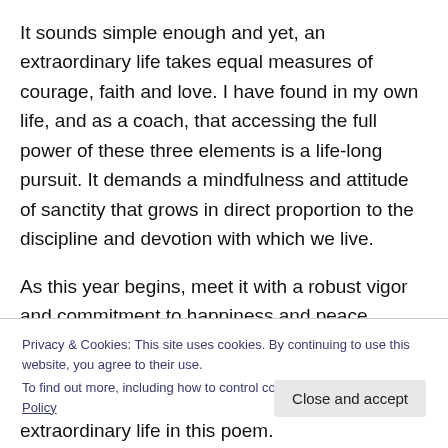It sounds simple enough and yet, an extraordinary life takes equal measures of courage, faith and love. I have found in my own life, and as a coach, that accessing the full power of these three elements is a life-long pursuit. It demands a mindfulness and attitude of sanctity that grows in direct proportion to the discipline and devotion with which we live.
As this year begins, meet it with a robust vigor and commitment to happiness and peace.  Discover or
Privacy & Cookies: This site uses cookies. By continuing to use this website, you agree to their use.
To find out more, including how to control cookies, see here: Cookie Policy
Close and accept
extraordinary life in this poem.